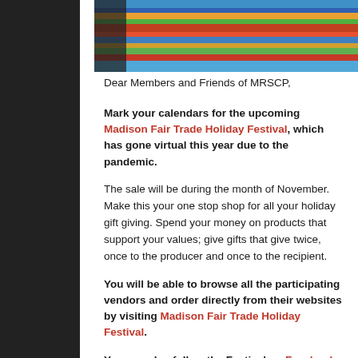[Figure (photo): Colorful woven textile/fabric photo at the top of the page]
Dear Members and Friends of MRSCP,
Mark your calendars for the upcoming Madison Fair Trade Holiday Festival, which has gone virtual this year due to the pandemic.
The sale will be during the month of November. Make this your one stop shop for all your holiday gift giving. Spend your money on products that support your values; give gifts that give twice, once to the producer and once to the recipient.
You will be able to browse all the participating vendors and order directly from their websites by visiting Madison Fair Trade Holiday Festival.
You can also follow the Festival on Facebook.